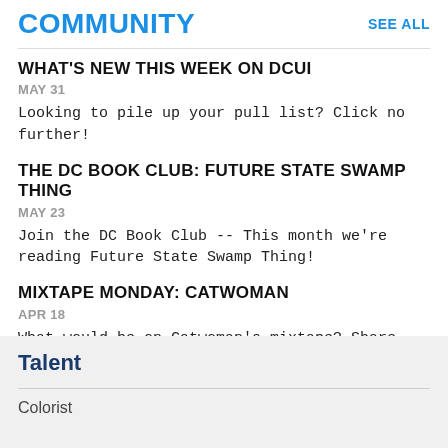COMMUNITY
SEE ALL
WHAT'S NEW THIS WEEK ON DCUI
MAY 31
Looking to pile up your pull list? Click no further!
THE DC BOOK CLUB: FUTURE STATE SWAMP THING
MAY 23
Join the DC Book Club -- This month we're reading Future State Swamp Thing!
MIXTAPE MONDAY: CATWOMAN
APR 18
What would be on Catwoman's mixtape? Share your tunes!
Talent
Colorist